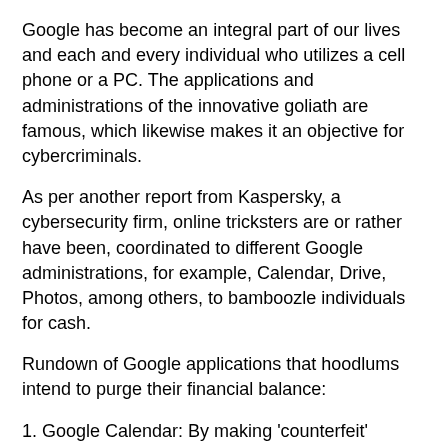Google has become an integral part of our lives and each and every individual who utilizes a cell phone or a PC. The applications and administrations of the innovative goliath are famous, which likewise makes it an objective for cybercriminals.
As per another report from Kaspersky, a cybersecurity firm, online tricksters are or rather have been, coordinated to different Google administrations, for example, Calendar, Drive, Photos, among others, to bamboozle individuals for cash.
Rundown of Google applications that hoodlums intend to purge their financial balance:
1. Google Calendar: By making 'counterfeit' arrangements
Con artists send a phony greeting to the clients and not long before the occasion, they send updates. Programmers add solicitations to your Google Calendar account that send you an update that recommends you have a wire move in your financial balance and that you should finish the data by including the PIN number of the record.